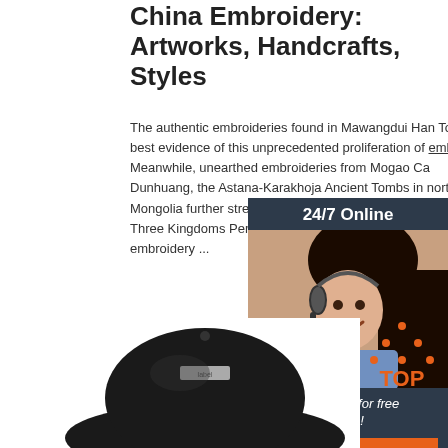China Embroidery: Artworks, Handcrafts, Styles
The authentic embroideries found in Mawangdui Han Tomb are best evidence of this unprecedented proliferation of embroidery. Meanwhile, unearthed embroideries from Mogao Ca... Dunhuang, the Astana-Karakhoja Ancient Tombs in... northern Inner Mongolia further strengthen this obse... During the following Three Kingdoms Period, one no... in the development of embroidery ...
[Figure (photo): Customer service representative woman with headset smiling, shown in a dark-themed chat widget with '24/7 Online' header, 'Click here for free chat!' text, and orange QUOTATION button]
Get Price
[Figure (logo): Orange TOP icon with dots arranged in triangle above the text TOP]
[Figure (photo): Dark embroidered cap/hat shown from above, partially visible at bottom of page]